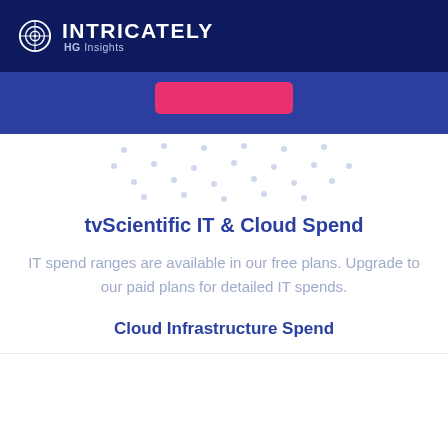INTRICATELY HG Insights
[Figure (other): Dark blue banner section with a pink/red button centered, followed by a decorative dot pattern on white background]
tvScientific IT & Cloud Spend
IT spend ranges are available in our free plans. Upgrade to our paid plans for detailed IT spends.
Cloud Infrastructure Spend